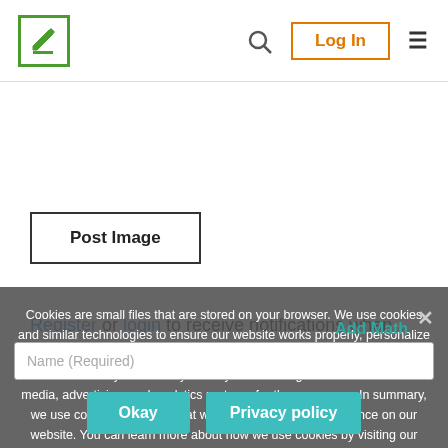[Figure (logo): Green square logo with pen/edit icon]
Log In [navigation bar with search icon and hamburger menu]
Post Image
Register or login to receive notifications when there's a reply to your comment.
Cookies are small files that are stored on your browser. We use cookies and similar technologies to ensure our website works properly, personalize your browsing experience, analyze how you use our website, and deliver relevant ads to you. We may share your site usage data with our social media, advertising, and analytics partners for these reasons. In summary, we use cookies to ensure that we give you the best experience on our website. You can learn more about how we use cookies by visiting our privacy policy page.
Name (Required)
Okay
Privacy policy